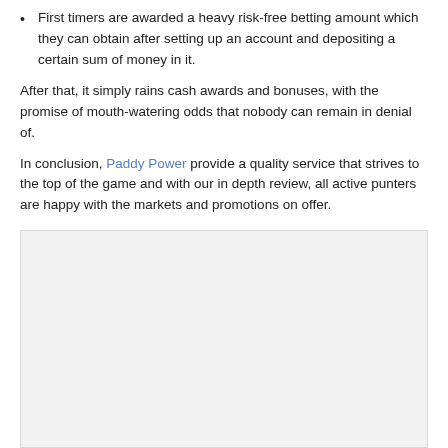First timers are awarded a heavy risk-free betting amount which they can obtain after setting up an account and depositing a certain sum of money in it.
After that, it simply rains cash awards and bonuses, with the promise of mouth-watering odds that nobody can remain in denial of.
In conclusion, Paddy Power provide a quality service that strives to the top of the game and with our in depth review, all active punters are happy with the markets and promotions on offer.
[Figure (other): Large light grey placeholder image box]